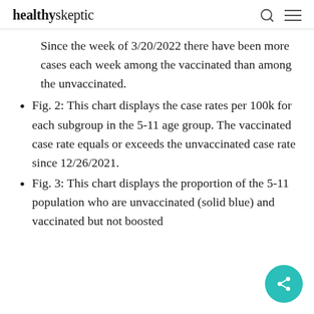healthyskeptic
Since the week of 3/20/2022 there have been more cases each week among the vaccinated than among the unvaccinated.
Fig. 2: This chart displays the case rates per 100k for each subgroup in the 5-11 age group. The vaccinated case rate equals or exceeds the unvaccinated case rate since 12/26/2021.
Fig. 3: This chart displays the proportion of the 5-11 population who are unvaccinated (solid blue) and vaccinated but not boosted